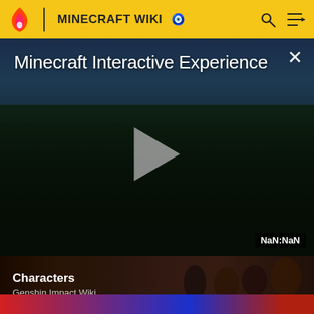MINECRAFT WIKI
[Figure (screenshot): Minecraft Interactive Experience video player overlay with dark landscape background, play button triangle in center, close (X) button top-right, title text 'Minecraft Interactive Experience', and NaN:NaN time badge bottom-right]
Characters
Genshin Impact Wiki
[Figure (screenshot): Partial view of another card with red and blue background, bottom of the page]